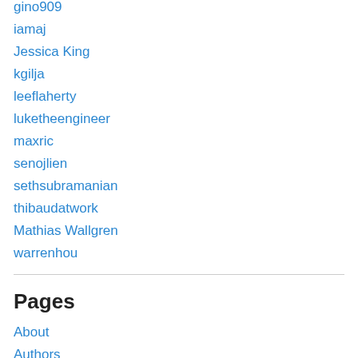gino909
iamaj
Jessica King
kgilja
leeflaherty
luketheengineer
maxric
senojlien
sethsubramanian
thibaudatwork
Mathias Wallgren
warrenhou
Pages
About
Authors
Disclaimer
Links